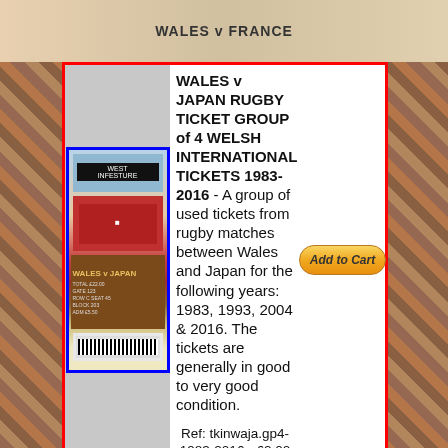[Figure (photo): Top banner showing various rugby match tickets collage background including Wales v France text]
[Figure (photo): Image of a group of 4 Welsh International rugby tickets from matches between Wales and Japan for years 1983, 1993, 2004 and 2016]
WALES v JAPAN RUGBY TICKET GROUP of 4 WELSH INTERNATIONAL TICKETS 1983-2016 - A group of used tickets from rugby matches between Wales and Japan for the following years: 1983, 1993, 2004 & 2016. The tickets are generally in good to very good condition.
Ref: tkinwaja.gp4-1983-2016 - £2.00
[Figure (other): Add to Cart button in golden/yellow color]